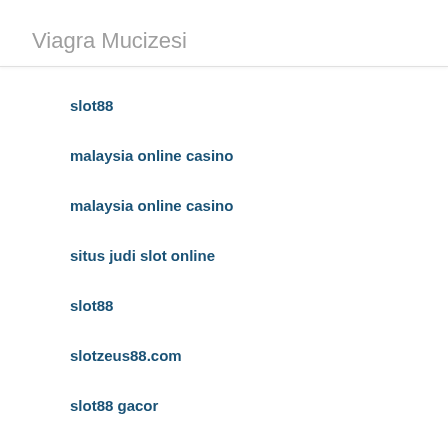Viagra Mucizesi
slot88
malaysia online casino
malaysia online casino
situs judi slot online
slot88
slotzeus88.com
slot88 gacor